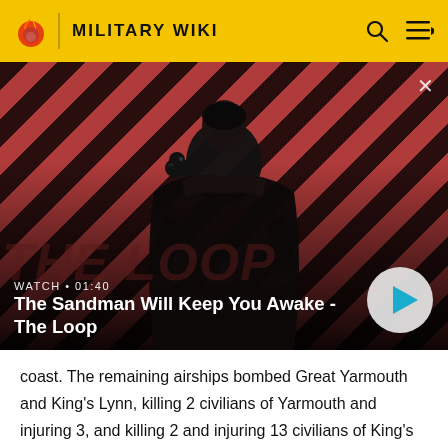MILITARY WIKI
[Figure (screenshot): Video thumbnail for 'The Sandman Will Keep You Awake - The Loop' showing a dark-cloaked figure with a raven on their shoulder against a diagonal red and dark striped background. Play button overlay with watch time 01:40.]
coast. The remaining airships bombed Great Yarmouth and King's Lynn, killing 2 civilians of Yarmouth and injuring 3, and killing 2 and injuring 13 civilians of King's Lynn. These were the first British Military casualties due to air attack.